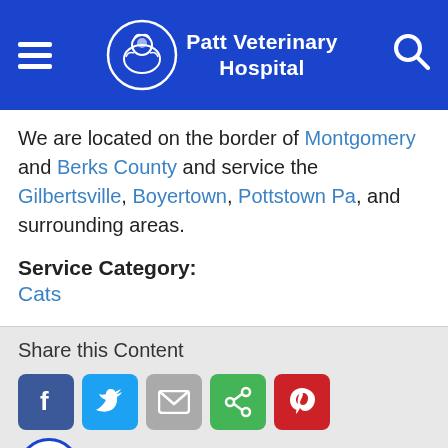Patt Veterinary Hospital
We are located on the border of Montgomery and Berks County and service the Gilbertsville, Boyertown, Pottstown Pa, and surrounding areas.
Service Category:
Cats
Share this Content
[Figure (infographic): Social share buttons: Facebook, Twitter, Email, Share, Pinterest; and an accessibility icon below]